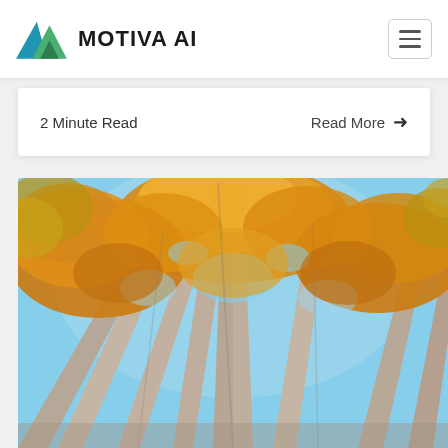MOTIVA AI
2 Minute Read    Read More →
[Figure (photo): Upward-looking view through tall autumn trees with golden-orange leaves against a blue sky]